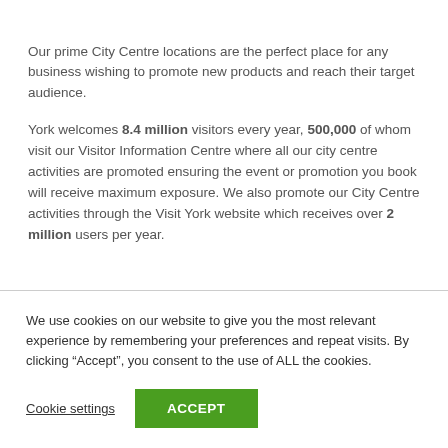Our prime City Centre locations are the perfect place for any business wishing to promote new products and reach their target audience.
York welcomes 8.4 million visitors every year, 500,000 of whom visit our Visitor Information Centre where all our city centre activities are promoted ensuring the event or promotion you book will receive maximum exposure. We also promote our City Centre activities through the Visit York website which receives over 2 million users per year.
We use cookies on our website to give you the most relevant experience by remembering your preferences and repeat visits. By clicking “Accept”, you consent to the use of ALL the cookies.
Cookie settings
ACCEPT